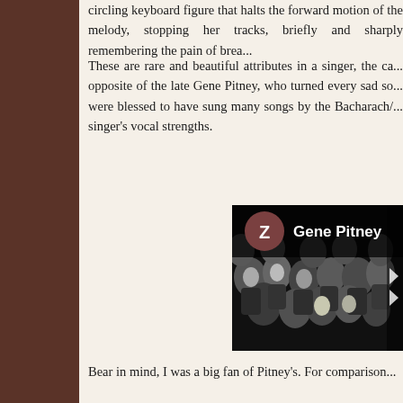circling keyboard figure that halts the forward motion of the melody, stopping her tracks, briefly and sharply remembering the pain of brea...
These are rare and beautiful attributes in a singer, the ca... opposite of the late Gene Pitney, who turned every sad so... were blessed to have sung many songs by the Bacharach/... singer's vocal strengths.
[Figure (screenshot): A screenshot of a media player or app showing Gene Pitney with a crowd in black and white, a brown avatar circle with the letter Z, and the text 'Gene Pitney']
Bear in mind, I was a big fan of Pitney's. For comparison...